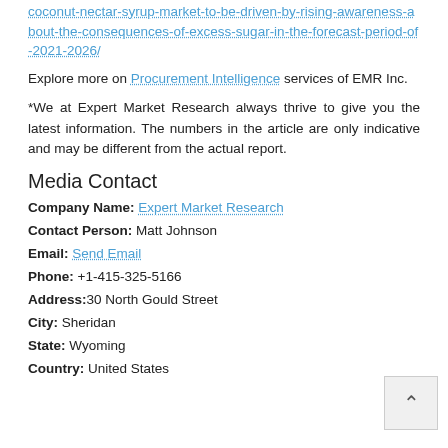coconut-nectar-syrup-market-to-be-driven-by-rising-awareness-about-the-consequences-of-excess-sugar-in-the-forecast-period-of-2021-2026/
Explore more on Procurement Intelligence services of EMR Inc.
*We at Expert Market Research always thrive to give you the latest information. The numbers in the article are only indicative and may be different from the actual report.
Media Contact
Company Name: Expert Market Research
Contact Person: Matt Johnson
Email: Send Email
Phone: +1-415-325-5166
Address: 30 North Gould Street
City: Sheridan
State: Wyoming
Country: United States